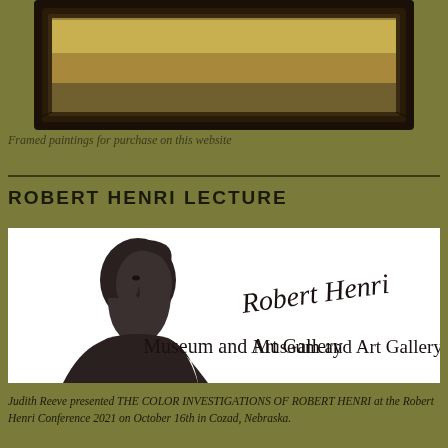[Figure (photo): Framed painting shown in a dark wooden frame, partially visible at top of page]
Framed paintings for purchase on this website
ROBERT HENRI LECTURE
[Figure (logo): Robert Henri Museum and Art Gallery logo — silhouette portrait of Robert Henri with cursive signature and text 'Museum and Art Gallery']
Judith Reeve presented THE COLOR INVESTIGATIONS OF ROBERT HENRI at the Robert Henri Conference 2021 on October 16th in Cozad, Nebraska.